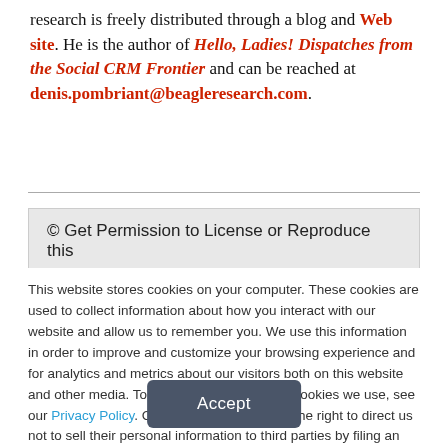research is freely distributed through a blog and Web site. He is the author of Hello, Ladies! Dispatches from the Social CRM Frontier and can be reached at denis.pombriant@beagleresearch.com.
© Get Permission to License or Reproduce this
This website stores cookies on your computer. These cookies are used to collect information about how you interact with our website and allow us to remember you. We use this information in order to improve and customize your browsing experience and for analytics and metrics about our visitors both on this website and other media. To find out more about the cookies we use, see our Privacy Policy. California residents have the right to direct us not to sell their personal information to third parties by filing an Opt-Out Request: Do Not Sell My Personal Info.